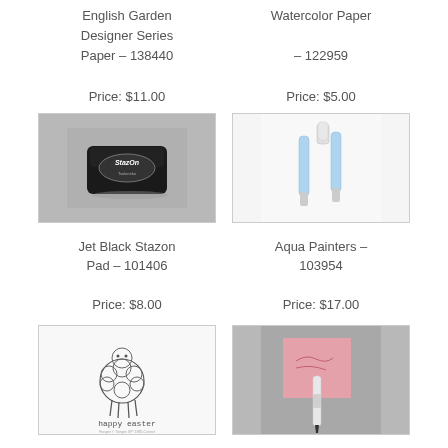English Garden Designer Series Paper – 138440 Price: $11.00
Watercolor Paper – 122959 Price: $5.00
[Figure (photo): Jet Black Stazon ink pad product photo on gray background]
[Figure (photo): Aqua Painters pens product photo on white background]
Jet Black Stazon Pad – 101406 Price: $8.00
Aqua Painters – 103954 Price: $17.00
[Figure (photo): Happy Easter lamb stamp illustration with text 'happy easter']
[Figure (photo): Marker pen writing on pink card on gray background]